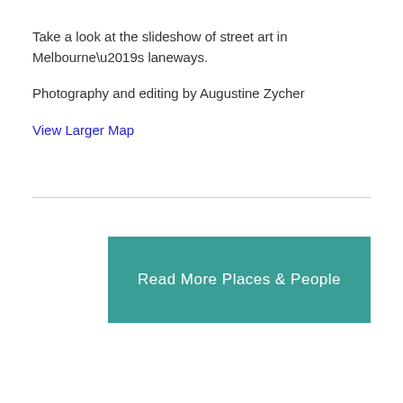Take a look at the slideshow of street art in Melbourne’s laneways.
Photography and editing by Augustine Zycher
View Larger Map
Read More Places & People